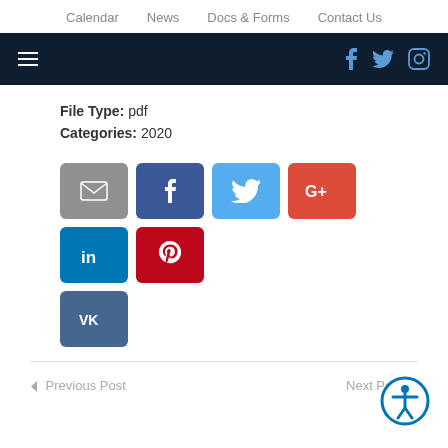Calendar  News  Docs & Forms  Contact Us
File Type: pdf
Categories: 2020
[Figure (infographic): Social share buttons: Email (grey), Facebook (dark blue), Twitter (light blue), Google+ (red-orange), LinkedIn (blue), Pinterest (red), VK (steel blue)]
< Previous Post    Next Post >